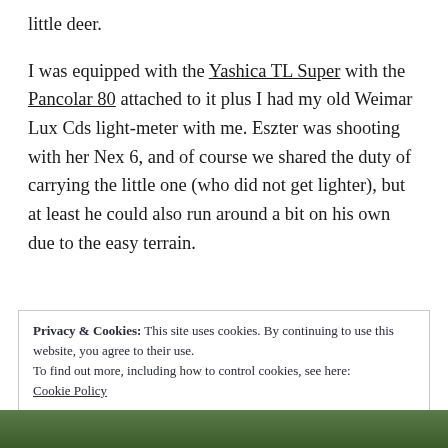little deer.
I was equipped with the Yashica TL Super with the Pancolar 80 attached to it plus I had my old Weimar Lux Cds light-meter with me. Eszter was shooting with her Nex 6, and of course we shared the duty of carrying the little one (who did not get lighter), but at least he could also run around a bit on his own due to the easy terrain.
Privacy & Cookies: This site uses cookies. By continuing to use this website, you agree to their use.
To find out more, including how to control cookies, see here: Cookie Policy
[Figure (photo): Partial photo strip at bottom of page showing outdoor/nature scene with green tones]